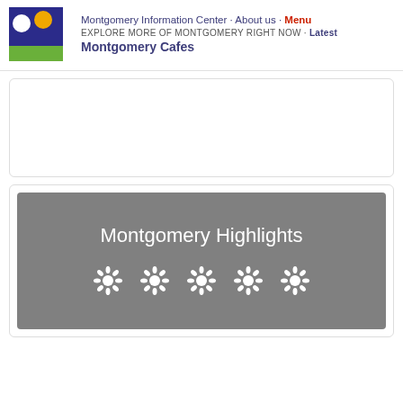Montgomery Information Center · About us · Menu
EXPLORE MORE OF MONTGOMERY RIGHT NOW · Latest
Montgomery Cafes
[Figure (other): Empty card/box area with light border and rounded corners]
[Figure (illustration): Gray banner with text 'Montgomery Highlights' and five decorative flower/snowflake icons below]